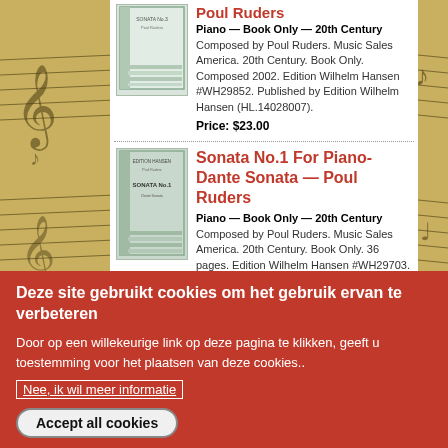[Figure (illustration): Music sheet background with handwritten notes]
Poul Ruders
Piano — Book Only — 20th Century
Composed by Poul Ruders. Music Sales America. 20th Century. Book Only. Composed 2002. Edition Wilhelm Hansen #WH29852. Published by Edition Wilhelm Hansen (HL.14028007).
Price: $23.00
Sonata No.1 For Piano-Dante Sonata — Poul Ruders
Piano — Book Only — 20th Century
Composed by Poul Ruders. Music Sales America. 20th Century. Book Only. 36 pages. Edition Wilhelm Hansen #WH29703. Published by Edition Wilhelm Hansen
Deze site gebruikt cookies om het gebruik ervan te verbeteren
Door op een willekeurige link op deze pagina te klikken, geeft u toestemming voor het plaatsen van deze cookies..
Nee, ik wil meer informatie
Accept all cookies